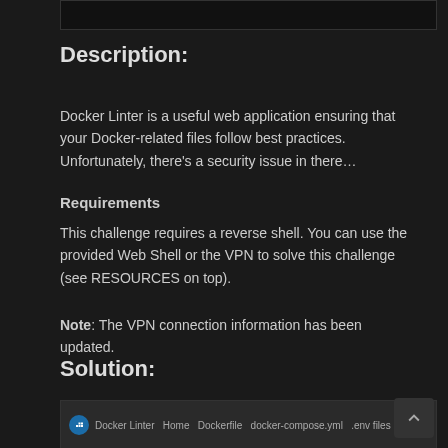[Figure (screenshot): Top portion of a webpage screenshot (partially visible)]
Description:
Docker Linter is a useful web application ensuring that your Docker-related files follow best practices. Unfortunately, there’s a security issue in there…
Requirements
This challenge requires a reverse shell. You can use the provided Web Shell or the VPN to solve this challenge (see RESOURCES on top).
Note: The VPN connection information has been updated.
Solution:
[Figure (screenshot): Bottom portion showing Docker Linter website interface with navigation bar]